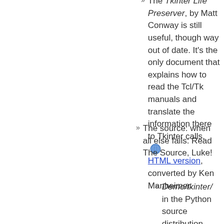The Tkinter Life Preserver, by Matt Conway is still useful, though way out of date. It's the only document that explains how to read the Tcl/Tk manuals and translate the information there to Tkinter calls. HTML version, converted by Ken Manheimer.
The source: when all else fails: Read The Source, Luke!
Demo/tkinter/ in the Python source distribution.